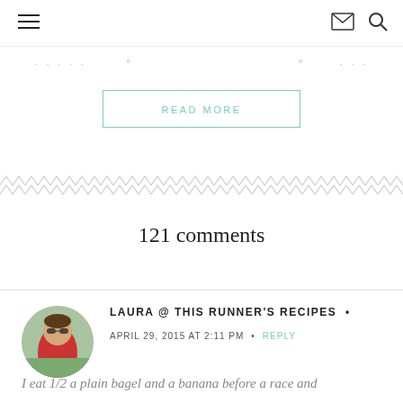Navigation header with hamburger menu, envelope icon, and search icon
[Figure (other): Decorative zigzag/chevron pattern divider]
READ MORE
121 comments
[Figure (photo): Circular avatar photo of Laura, a woman in a red shirt outdoors]
LAURA @ THIS RUNNER'S RECIPES
APRIL 29, 2015 AT 2:11 PM  •  REPLY
I eat 1/2 a plain bagel and a banana before a race and